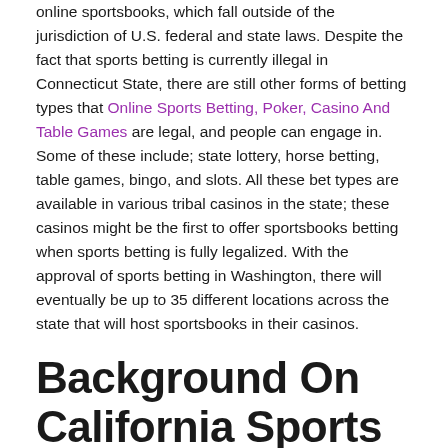online sportsbooks, which fall outside of the jurisdiction of U.S. federal and state laws. Despite the fact that sports betting is currently illegal in Connecticut State, there are still other forms of betting types that Online Sports Betting, Poker, Casino And Table Games are legal, and people can engage in. Some of these include; state lottery, horse betting, table games, bingo, and slots. All these bet types are available in various tribal casinos in the state; these casinos might be the first to offer sportsbooks betting when sports betting is fully legalized. With the approval of sports betting in Washington, there will eventually be up to 35 different locations across the state that will host sportsbooks in their casinos.
Background On California Sports Betting
Louisiana officials hope to see the first books go live by fall